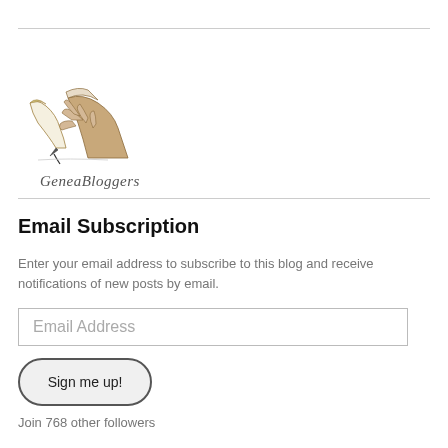[Figure (logo): GeneaBloggers logo: hand holding a quill pen, with text 'GeneaBloggers' below]
Email Subscription
Enter your email address to subscribe to this blog and receive notifications of new posts by email.
Email Address
Sign me up!
Join 768 other followers